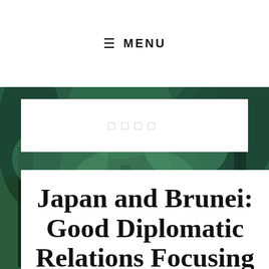≡  MENU
[Figure (photo): Forest/jungle path background photo with lush green foliage and trees]
Japan and Brunei: Good Diplomatic Relations Focusing on Energy